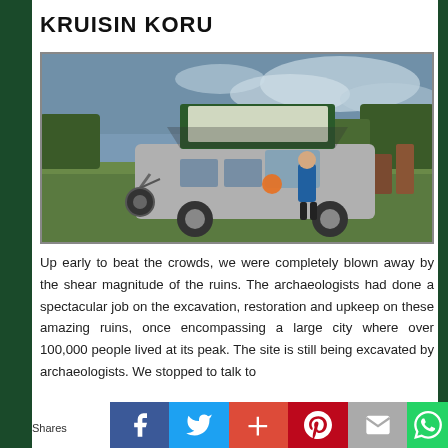KRUISIN KORU
[Figure (photo): A grey VW T3/Vanagon campervan with pop-up roof tent open, parked on a grass field. A person in a blue shirt stands beside it. Bicycles are attached to the rear. Trees and overcast sky in the background.]
Up early to beat the crowds, we were completely blown away by the shear magnitude of the ruins. The archaeologists had done a spectacular job on the excavation, restoration and upkeep on these amazing ruins, once encompassing a large city where over 100,000 people lived at its peak. The site is still being excavated by archaeologists. We stopped to talk to
Shares